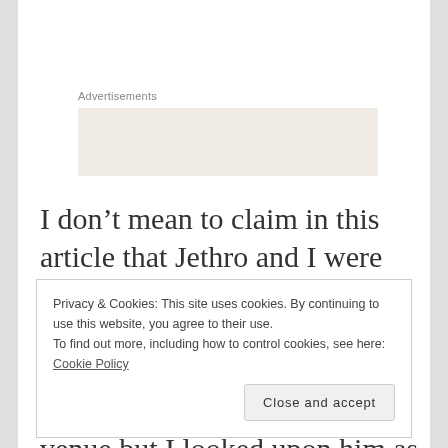Advertisements
[Figure (other): Advertisement placeholder box with beige/tan background]
I don’t mean to claim in this article that Jethro and I were best buddies; we only really met up on the rare occasions when we both were booked on the same night at the same venue but I looked upon him as a good pal who was
Privacy & Cookies: This site uses cookies. By continuing to use this website, you agree to their use.
To find out more, including how to control cookies, see here: Cookie Policy
Close and accept